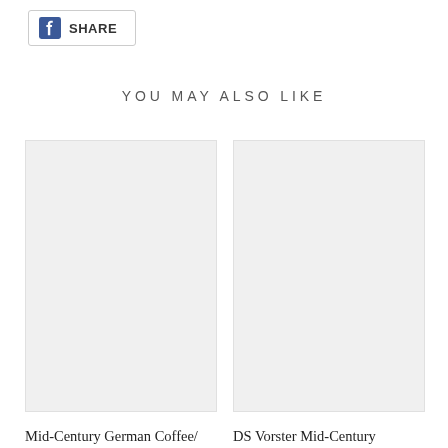[Figure (other): Facebook Share button with FB logo icon and text SHARE, inside a bordered rectangle]
YOU MAY ALSO LIKE
[Figure (photo): Product image placeholder (light gray rectangle) for Mid-Century German Coffee/Side Table]
Mid-Century German Coffee/ Side Table
[Figure (photo): Product image placeholder (light gray rectangle) for DS Vorster Mid-Century Entrance Table/Server]
DS Vorster Mid-Century Entrance Table/Server